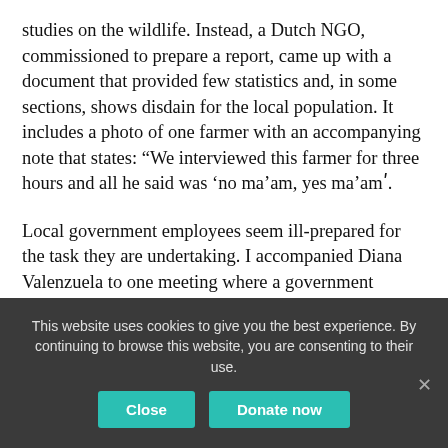studies on the wildlife. Instead, a Dutch NGO, commissioned to prepare a report, came up with a document that provided few statistics and, in some sections, shows disdain for the local population. It includes a photo of one farmer with an accompanying note that states: “We interviewed this farmer for three hours and all he said was ‘no ma’am, yes ma’amʹ.
Local government employees seem ill-prepared for the task they are undertaking. I accompanied Diana Valenzuela to one meeting where a government official told her that they were going to use an old environment management plan. When it was pointed
This website uses cookies to give you the best experience. By continuing to browse this website, you are consenting to their use.